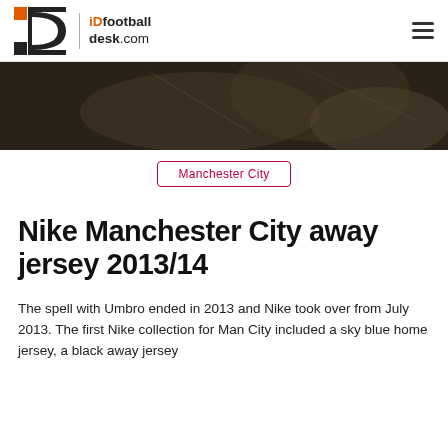iDfootballdesk.com
[Figure (photo): Dark hero/banner image showing a football match action scene, players visible in the background]
Manchester City
Nike Manchester City away jersey 2013/14
The spell with Umbro ended in 2013 and Nike took over from July 2013. The first Nike collection for Man City included a sky blue home jersey, a black away jersey